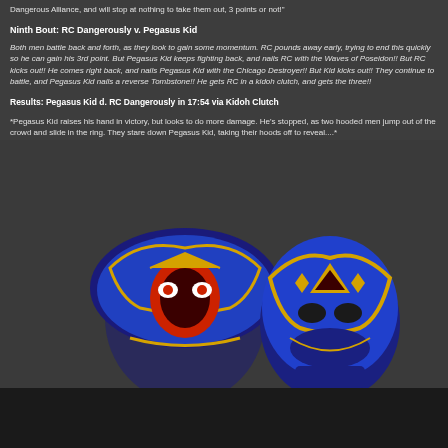Dangerous Alliance, and will stop at nothing to take them out, 3 points or not!"
Ninth Bout: RC Dangerously v. Pegasus Kid
Both men battle back and forth, as they look to gain some momentum. RC pounds away early, trying to end this quickly so he can gain his 3rd point. But Pegasus Kid keeps fighting back, and nails RC with the Waves of Poseidon!! But RC kicks out!! He comes right back, and nails Pegasus Kid with the Chicago Destroyer!! But Kid kicks out!! They continue to battle, and Pegasus Kid nails a reverse Tombstone!! He gets RC in a kidoh clutch, and gets the three!!
Results: Pegasus Kid d. RC Dangerously in 17:54 via Kidoh Clutch
*Pegasus Kid raises his hand in victory, but looks to do more damage. He's stopped, as two hooded men jump out of the crowd and slide in the ring. They stare down Pegasus Kid, taking their hoods off to reveal....*
[Figure (photo): Two masked wrestlers wearing blue and gold lucha libre masks, shown from shoulders up against a dark background.]